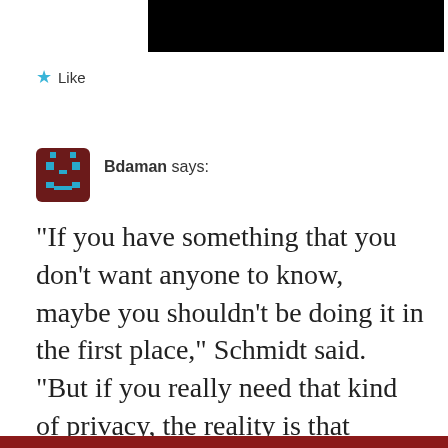[Figure (other): Black redacted bar at top of page]
★ Like
[Figure (illustration): Pixel art avatar icon showing a dark red/maroon robot/alien face with blue pixel details]
Bdaman says:
“If you have something that you don’t want anyone to know, maybe you shouldn’t be doing it in the first place,” Schmidt said. “But if you really need that kind of privacy, the reality is that search engines,